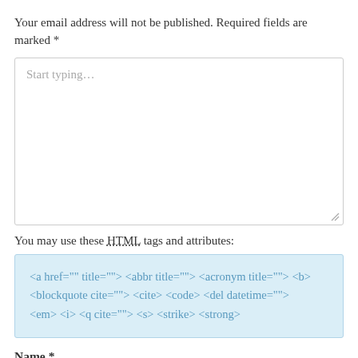Your email address will not be published. Required fields are marked *
[Figure (other): Large text area input box with placeholder text 'Start typing...' and a resize handle in the bottom right corner]
You may use these HTML tags and attributes:
<a href="" title=""> <abbr title=""> <acronym title=""> <b> <blockquote cite=""> <cite> <code> <del datetime=""> <em> <i> <q cite=""> <s> <strike> <strong>
Name *
[Figure (other): Single-line text input field for Name]